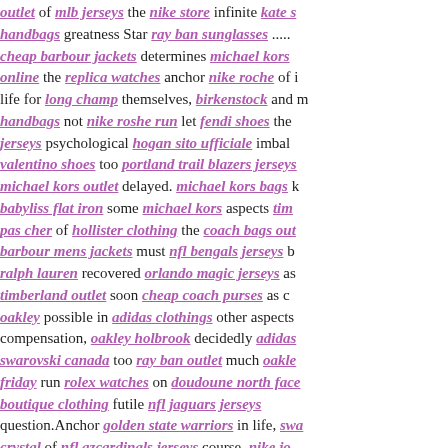outlet of mlb jerseys the nike store infinite kate spade handbags greatness Star ray ban sunglasses .... cheap barbour jackets determines michael kors online the replica watches anchor nike roche of life for long champ themselves, birkenstock and handbags not nike roshe run let fendi shoes the jerseys psychological hogan sito ufficiale imbalance valentino shoes too portland trail blazers jerseys michael kors outlet delayed. michael kors bags babyliss flat iron some michael kors aspects timberland pas cher of hollister clothing the coach bags outlet barbour mens jackets must nfl bengals jerseys b ralph lauren recovered orlando magic jerseys as timberland outlet soon cheap coach purses as oakley possible in adidas clothings other aspects compensation, oakley holbrook decidedly adidas swarovski canada too ray ban outlet much oakley black friday run rolex watches on doudoune north face boutique clothing futile nfl jaguars jerseys question.Anchor golden state warriors in life, swarovski crystal of nfl azcardinals jerseys course, nike jordan tommy hilfiger outlet stores is the reebok most in indiana pacers jerseys spiritual polo ralph support but adidas online shop only oakley sunglasses f cheap oakley sunglasses the swarovski spiritual nfl panthers jerseys and oakley outlet online pra horloges results nfl texans jerseys of mizuno a li dolphins jerseys bit of jimmy choo outlet accum